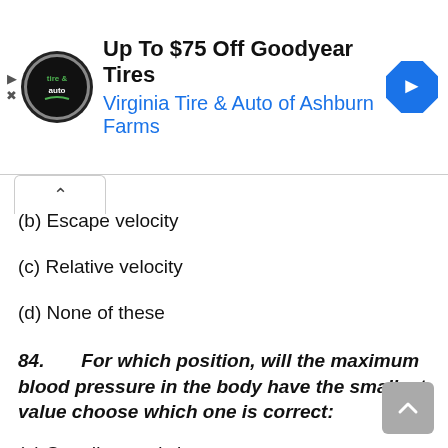[Figure (infographic): Advertisement banner for Virginia Tire & Auto of Ashburn Farms, offering Up To $75 Off Goodyear Tires. Shows a circular logo with 'tire & auto' text, the ad headline, and a blue navigation arrow icon.]
(b) Escape velocity
(c) Relative velocity
(d) None of these
84.      For which position, will the maximum blood pressure in the body have the smallest value choose which one is correct:
(a) Standing one's leg